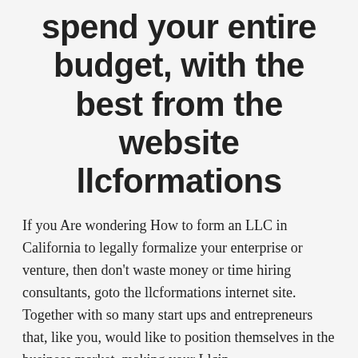spend your entire budget, with the best from the website llcformations
If you Are wondering How to form an LLC in California to legally formalize your enterprise or venture, then don't waste money or time hiring consultants, goto the llcformations internet site. Together with so many start ups and entrepreneurs that, like you, would like to position themselves in the business market, making your Llcin Alabamaregistration or in the town where you are in California LLC crucial